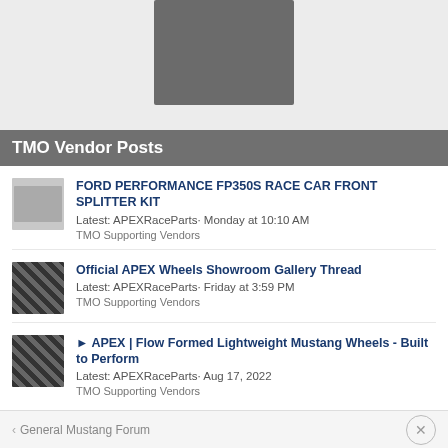[Figure (photo): Partial view of a dark gray car part (splitter/spoiler) on a light gray background, cropped at top]
TMO Vendor Posts
FORD PERFORMANCE FP350S RACE CAR FRONT SPLITTER KIT
Latest: Leo Capaldi· Monday at 10:10 AM
TMO Supporting Vendors
Official APEX Wheels Showroom Gallery Thread
Latest: APEXRaceParts· Friday at 3:59 PM
TMO Supporting Vendors
► APEX | Flow Formed Lightweight Mustang Wheels - Built to Perform
Latest: APEXRaceParts· Aug 17, 2022
TMO Supporting Vendors
< General Mustang Forum